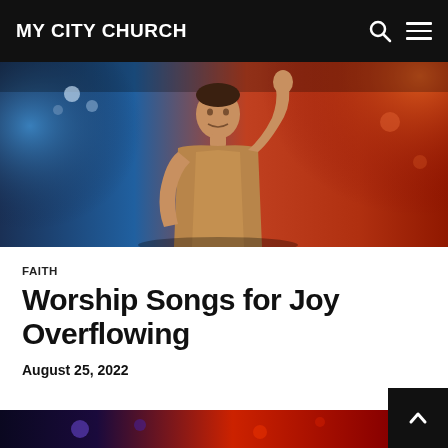MY CITY CHURCH
[Figure (photo): A man in a tan t-shirt raising his arm on stage with dramatic blue and orange/red stage lighting behind him]
FAITH
Worship Songs for Joy Overflowing
August 25, 2022
[Figure (photo): Bottom strip of another photo showing colorful stage lighting]